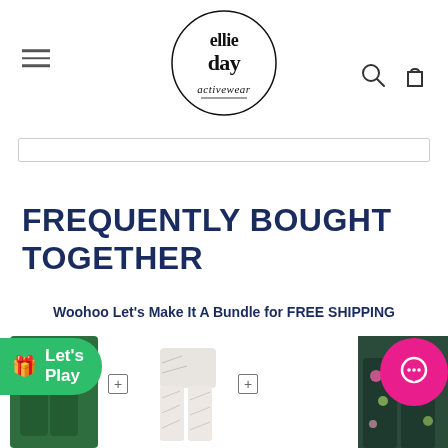[Figure (logo): Ellie Day Activewear logo — circular logo with 'ellie day' in bold serif text and 'activewear' in script below, with hamburger menu icon on left and search/cart icons on right]
[Figure (other): Search bar input field]
FREQUENTLY BOUGHT TOGETHER
Woohoo Let's Make It A Bundle for FREE SHIPPING
[Figure (photo): Three activewear leggings products shown: dark green leggings on left, light grey/white space-dye capri leggings in middle, floral print leggings on right. A green 'Let's Play' badge with gift icon on the left, and a pink chat bubble icon on the right.]